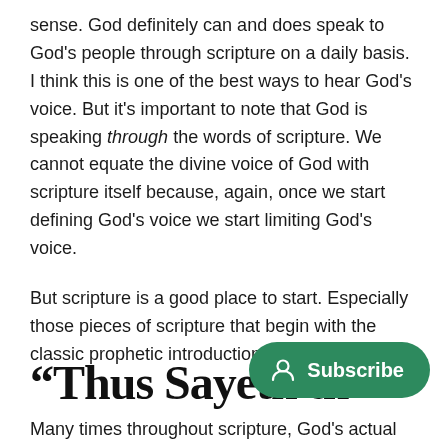sense. God definitely can and does speak to God's people through scripture on a daily basis. I think this is one of the best ways to hear God's voice. But it's important to note that God is speaking through the words of scripture. We cannot equate the divine voice of God with scripture itself because, again, once we start defining God's voice we start limiting God's voice.
But scripture is a good place to start. Especially those pieces of scripture that begin with the classic prophetic introduction...
“Thus Sayeth th
Many times throughout scripture, God's actual
[Figure (other): Green rounded rectangle Subscribe button with person/user icon on the left]